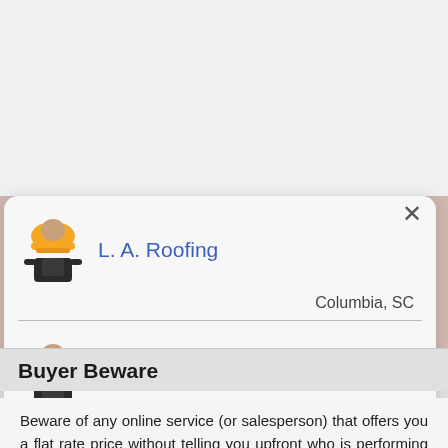[Figure (screenshot): Modal popup showing two roofing companies: L. A. Roofing (Columbia, SC) and Culler Roofing (Columbia, SC), each with a worker/contractor icon. A close button (×) is in the top right corner.]
Buyer Beware
Beware of any online service (or salesperson) that offers you a flat rate price without telling you upfront who is performing the services; especially, if they are not the actual company